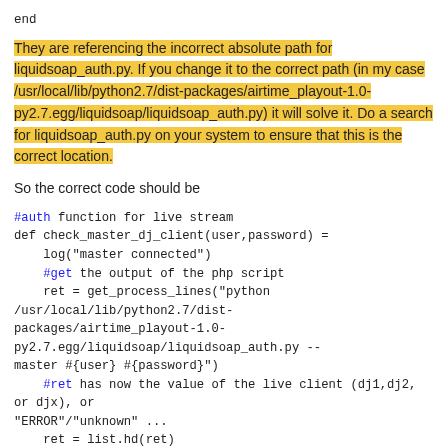end
They are referencing the incorrect absolute path for liquidsoap_auth.py. If you change it to the correct path (in my case /usr/local/lib/python2.7/dist-packages/airtime_playout-1.0-py2.7.egg/liquidsoap/liquidsoap_auth.py) it will solve it. Do a search for liquidsoap_auth.py on your system to ensure that this is the correct location.
So the correct code should be
#auth function for live stream
def check_master_dj_client(user,password) =
    log("master connected")
    #get the output of the php script
    ret = get_process_lines("python /usr/local/lib/python2.7/dist-packages/airtime_playout-1.0-py2.7.egg/liquidsoap/liquidsoap_auth.py --master #{user} #{password}")
    #ret has now the value of the live client (dj1,dj2, or djx), or "ERROR"/"unknown" ...
    ret = list.hd(ret)

    #return true to let the client transmit data, or false to tell harbor to decline
    ret = "True"